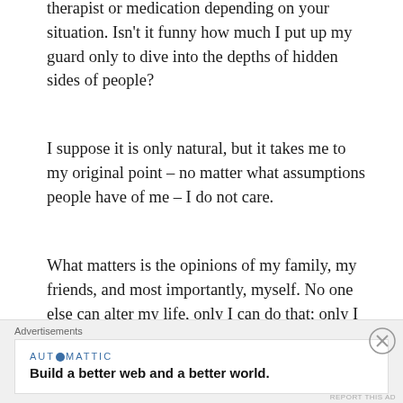therapist or medication depending on your situation. Isn't it funny how much I put up my guard only to dive into the depths of hidden sides of people?
I suppose it is only natural, but it takes me to my original point – no matter what assumptions people have of me – I do not care.
What matters is the opinions of my family, my friends, and most importantly, myself. No one else can alter my life, only I can do that; only I should be taking responsibility for that. Others may help me, but they have no autonomy over my life.
We have lost that idea of Self and autonomy in a world of
[Figure (other): Advertisement banner with close button (X). Shows 'Advertisements' label, Automattic logo with tagline 'Build a better web and a better world.' on white background within a grey container.]